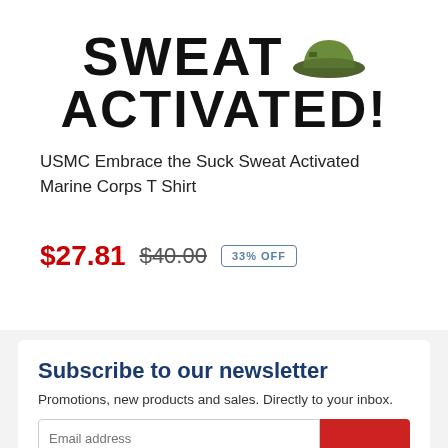[Figure (illustration): Top portion of a product image showing bold text 'SWEAT ACTIVATED!' with a military/olive colored cap graphic]
USMC Embrace the Suck Sweat Activated Marine Corps T Shirt
$27.81 $40.00 33% OFF
Subscribe to our newsletter
Promotions, new products and sales. Directly to your inbox.